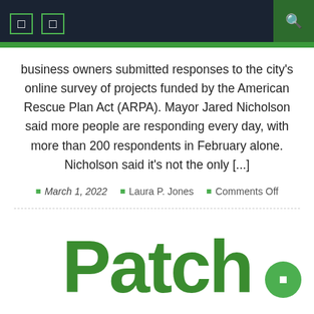Navigation header with icons and search
business owners submitted responses to the city's online survey of projects funded by the American Rescue Plan Act (ARPA). Mayor Jared Nicholson said more people are responding every day, with more than 200 respondents in February alone. Nicholson said it's not the only [...]
March 1, 2022  Laura P. Jones  Comments Off
[Figure (logo): Patch logo in large green bold text]